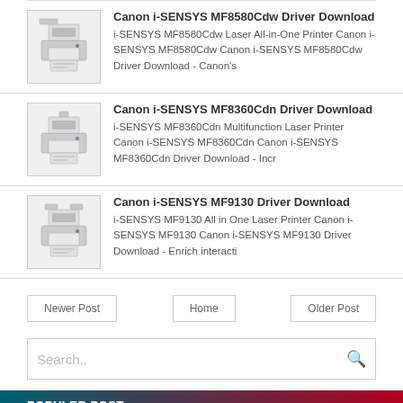Canon i-SENSYS MF8580Cdw Driver Download - i-SENSYS MF8580Cdw Laser All-in-One Printer Canon i-SENSYS MF8580Cdw Canon i-SENSYS MF8580Cdw Driver Download - Canon's
Canon i-SENSYS MF8360Cdn Driver Download - i-SENSYS MF8360Cdn Multifunction Laser Printer Canon i-SENSYS MF8360Cdn Canon i-SENSYS MF8360Cdn Driver Download - Incr
Canon i-SENSYS MF9130 Driver Download - i-SENSYS MF9130 All in One Laser Printer Canon i-SENSYS MF9130 Canon i-SENSYS MF9130 Driver Download - Enrich interacti
Newer Post | Home | Older Post
Search..
POPULER POST
Canon PIXMA MG3510 Driver Download